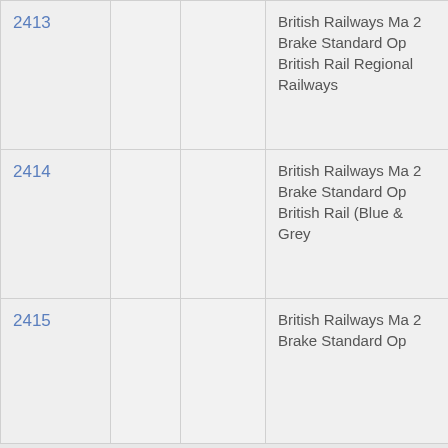| 2413 |  |  | British Railways Ma 2 Brake Standard Op British Rail Regional Railways |
| 2414 |  |  | British Railways Ma 2 Brake Standard Op British Rail (Blue & Grey |
| 2415 |  |  | British Railways Ma 2 Brake Standard Op |